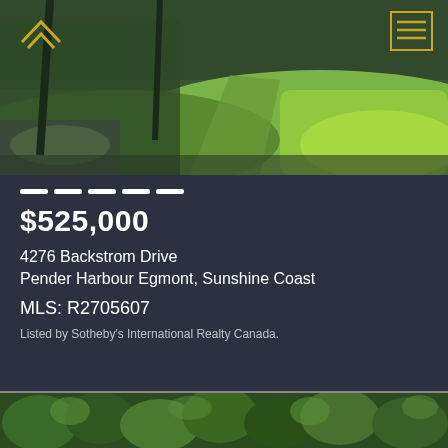[Figure (photo): Landscape photo showing green grassy hillside with conifer trees and rocky terrain under bright daylight]
— — — — —
$525,000
4276 Backstrom Drive
Pender Harbour Egmont, Sunshine Coast
MLS: R2705607
Listed by Sotheby's International Realty Canada.
[Figure (photo): Aerial photo of dense green conifer forest canopy]